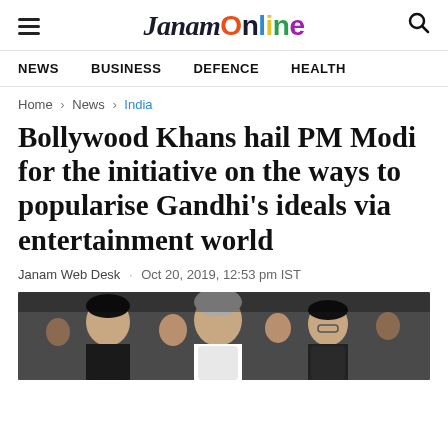JanamOnline
NEWS  BUSINESS  DEFENCE  HEALTH
Home > News > India
Bollywood Khans hail PM Modi for the initiative on the ways to popularise Gandhi's ideals via entertainment world
Janam Web Desk · Oct 20, 2019, 12:53 pm IST
[Figure (photo): Photo of Bollywood Khans with PM Modi at an event, showing multiple people including prominent figures in formal attire]